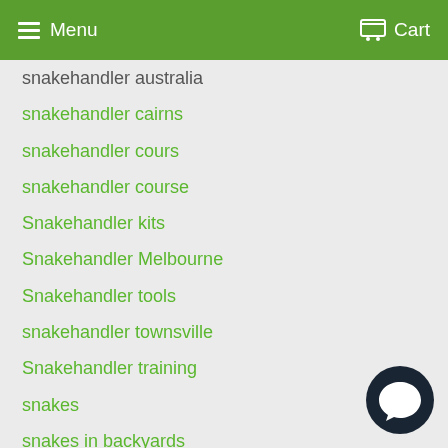Menu  Cart
snakehandler australia
snakehandler cairns
snakehandler cours
snakehandler course
Snakehandler kits
Snakehandler Melbourne
Snakehandler tools
snakehandler townsville
Snakehandler training
snakes
snakes in backyards
snakes in houses
snakes in yards
Spotter Catcher
spring
[Figure (illustration): Chat bubble icon in dark navy color at bottom right corner]